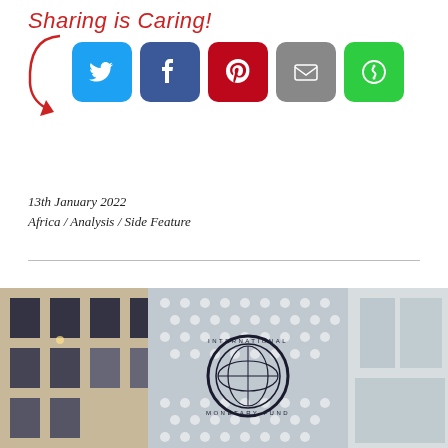[Figure (infographic): Sharing is Caring social share buttons: Twitter (blue), Facebook (dark blue), Pinterest (red), Email (grey), More (green), with a red cursive title and arrow]
13th January 2022
Africa / Analysis / Side Feature
[Figure (photo): Photograph of the International Monetary Fund (IMF) logo sign on a building exterior, showing the circular IMF seal with globe]